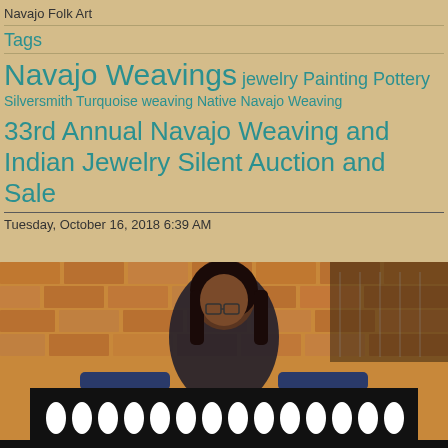Navajo Folk Art
Tags
Navajo Weavings jewelry Painting Pottery Silversmith Turquoise weaving Native Navajo Weaving
33rd Annual Navajo Weaving and Indian Jewelry Silent Auction and Sale
Tuesday, October 16, 2018 6:39 AM
[Figure (photo): A woman with long dark hair and glasses holding up a black and white Navajo weaving in front of a brick wall background]